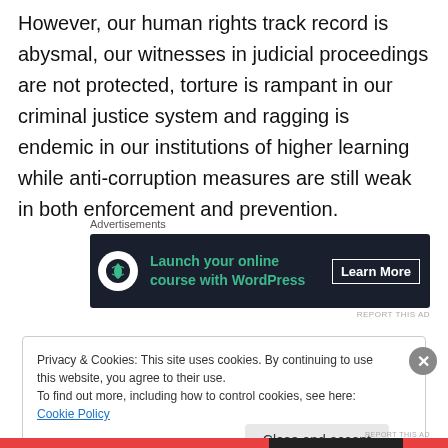However, our human rights track record is abysmal, our witnesses in judicial proceedings are not protected, torture is rampant in our criminal justice system and ragging is endemic in our institutions of higher learning while anti-corruption measures are still weak in both enforcement and prevention.
[Figure (other): Advertisement banner for 'Launch your online course with WordPress' with a Learn More button, dark navy background with green text and a white icon.]
Privacy & Cookies: This site uses cookies. By continuing to use this website, you agree to their use.
To find out more, including how to control cookies, see here: Cookie Policy